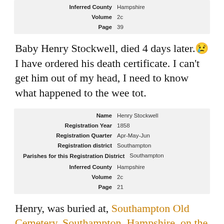| Field | Value |
| --- | --- |
| Inferred County | Hampshire |
| Volume | 2c |
| Page | 39 |
Baby Henry Stockwell, died 4 days later.😢 I have ordered his death certificate. I can't get him out of my head, I need to know what happened to the wee tot.
| Field | Value |
| --- | --- |
| Name | Henry Stockwell |
| Registration Year | 1858 |
| Registration Quarter | Apr-May-Jun |
| Registration district | Southampton |
| Parishes for this Registration District | Southampton |
| Inferred County | Hampshire |
| Volume | 2c |
| Page | 21 |
Henry, was buried at, Southampton Old Cemetery, Southampton, Hampshire, on the